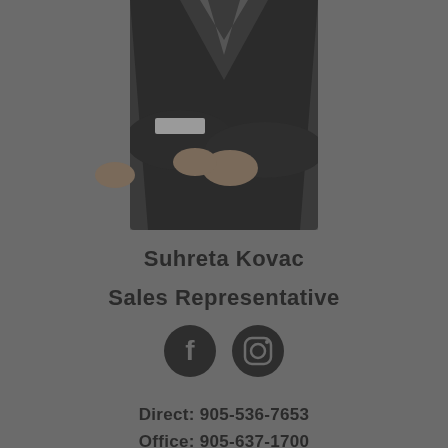[Figure (photo): Professional person in dark suit with arms crossed, torso/lower body visible, dark moody background]
Suhreta Kovac
Sales Representative
[Figure (illustration): Facebook and Instagram social media icons (dark circular icons)]
Direct: 905-536-7653
Office: 905-637-1700